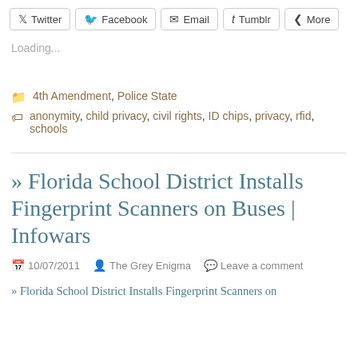[Figure (other): Social sharing buttons row: Twitter, Facebook, Email, Tumblr, More]
Loading...
4th Amendment, Police State
anonymity, child privacy, civil rights, ID chips, privacy, rfid, schools
» Florida School District Installs Fingerprint Scanners on Buses | Infowars
10/07/2011  The Grey Enigma  Leave a comment
» Florida School District Installs Fingerprint Scanners on